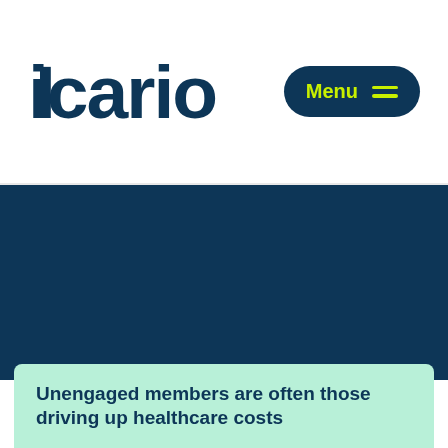Icario
[Figure (logo): Icario company logo in dark navy blue, large bold stylized text]
[Figure (other): Dark navy blue background section filling the middle portion of the page]
Unengaged members are often those driving up healthcare costs